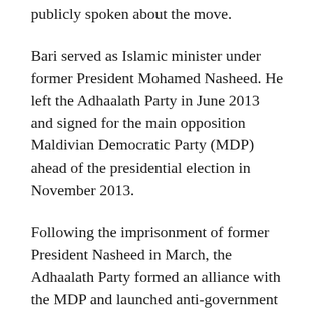publicly spoken about the move.
Bari served as Islamic minister under former President Mohamed Nasheed. He left the Adhaalath Party in June 2013 and signed for the main opposition Maldivian Democratic Party (MDP) ahead of the presidential election in November 2013.
Following the imprisonment of former President Nasheed in March, the Adhaalath Party formed an alliance with the MDP and launched anti-government protests under the ‘Maldivians against tyranny’ banner.
The Adhaalath Party leader, Sheikh Imran Abdulla, remains meanwhile under police custody. He was charged with terrorism and accused of inciting violence at a mass protest on May 1.
Besides the above mentioned, there are other allies